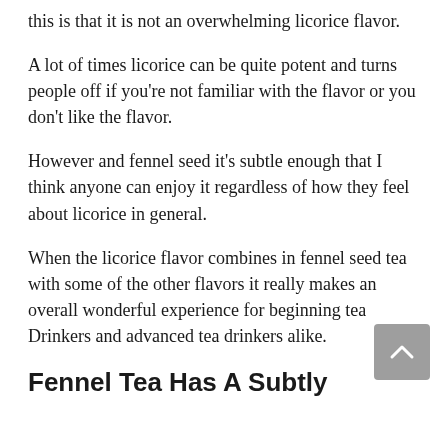this is that it is not an overwhelming licorice flavor.
A lot of times licorice can be quite potent and turns people off if you’re not familiar with the flavor or you don’t like the flavor.
However and fennel seed it’s subtle enough that I think anyone can enjoy it regardless of how they feel about licorice in general.
When the licorice flavor combines in fennel seed tea with some of the other flavors it really makes an overall wonderful experience for beginning tea Drinkers and advanced tea drinkers alike.
Fennel Tea Has A Subtly